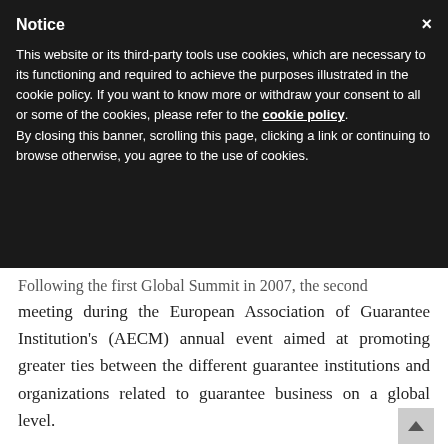Notice
This website or its third-party tools use cookies, which are necessary to its functioning and required to achieve the purposes illustrated in the cookie policy. If you want to know more or withdraw your consent to all or some of the cookies, please refer to the cookie policy. By closing this banner, scrolling this page, clicking a link or continuing to browse otherwise, you agree to the use of cookies.
Following the first Global Summit in 2007, the second meeting during the European Association of Guarantee Institution's (AECM) annual event aimed at promoting greater ties between the different guarantee institutions and organizations related to guarantee business on a global level.
To consolidate their role as an instrument for economic development, a non-formal, cost-free and related Global Network to be more result-focused